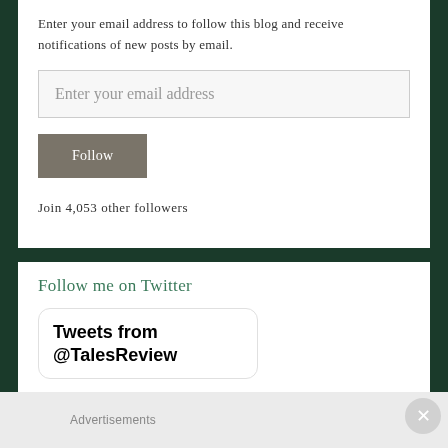Enter your email address to follow this blog and receive notifications of new posts by email.
Enter your email address
Follow
Join 4,053 other followers
Follow me on Twitter
Tweets from @TalesReview
Advertisements